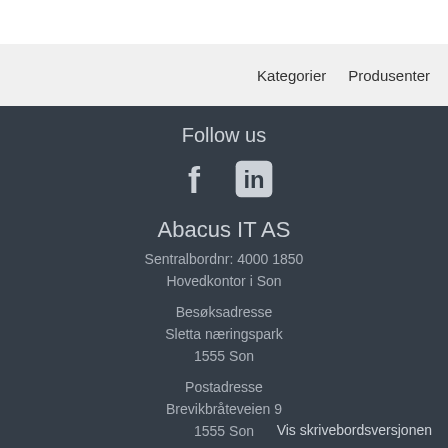Kategorier   Produsenter
Follow us
[Figure (illustration): Facebook and LinkedIn social media icons]
Abacus IT AS
Sentralbordnr: 4000 1850
Hovedkontor i Son
Besøksadresse
Sletta næringspark
1555 Son
Postadresse
Brevikbråteveien 9
1555 Son
Vis skrivebordsversjonen